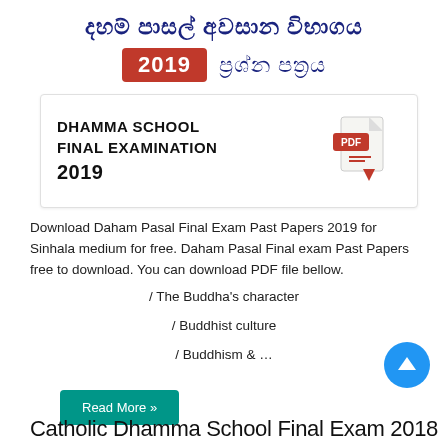දහම් පාසල් අවසාන විභාගය
2019 ප්‍රශ්න පත්‍රය
[Figure (illustration): Card showing DHAMMA SCHOOL FINAL EXAMINATION 2019 text on left and a PDF download icon with red arrow on right]
Download Daham Pasal Final Exam Past Papers 2019 for Sinhala medium for free. Daham Pasal Final exam Past Papers free to download. You can download PDF file bellow.
/ The Buddha's character
/ Buddhist culture
/ Buddhism & …
Read More »
Catholic Dhamma School Final Exam 2018